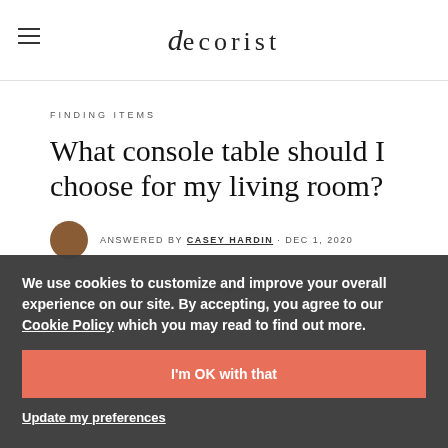decorist
FINDING ITEMS
What console table should I choose for my living room?
ANSWERED BY CASEY HARDIN · DEC 1, 2020
Thank you for coming to the Design Bar for online
recommendation for a console table for the area to the left of your
We use cookies to customize and improve your overall experience on our site. By accepting, you agree to our Cookie Policy which you may read to find out more.
I'm OK with that
Update my preferences